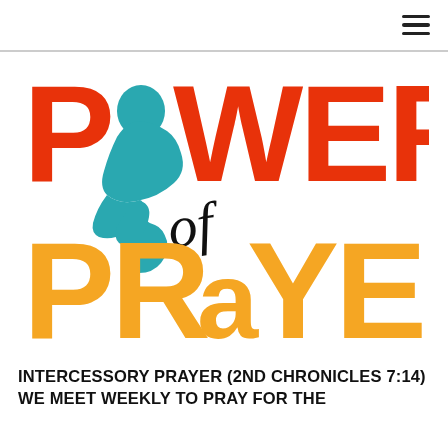≡
[Figure (logo): Power of Prayer logo — large red bold text 'POWER' on top with a teal silhouette of a kneeling person in prayer replacing the letter 'O', and cursive script 'of' overlaid in black. Below in orange bold text 'PRaYER' with 'a' in lower case. Two-line stacked typographic logo.]
INTERCESSORY PRAYER (2ND CHRONICLES 7:14)
WE MEET WEEKLY TO PRAY FOR THE